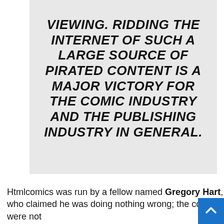[Figure (other): A gray box containing large bold italic text: VIEWING. RIDDING THE INTERNET OF SUCH A LARGE SOURCE OF PIRATED CONTENT IS A MAJOR VICTORY FOR THE COMIC INDUSTRY AND THE PUBLISHING INDUSTRY IN GENERAL.]
Htmlcomics was run by a fellow named Gregory Hart, who claimed he was doing nothing wrong; the comics were not